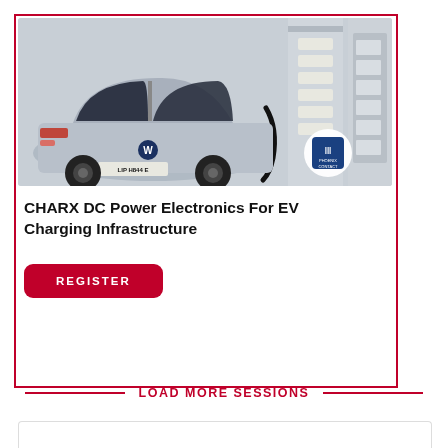[Figure (photo): A silver Volkswagen electric car being charged at a DC fast charging station. License plate reads 'LIP H844 E'. A Phoenix Contact logo appears in a white circle at the bottom right of the image.]
CHARX DC Power Electronics For EV Charging Infrastructure
REGISTER
LOAD MORE SESSIONS